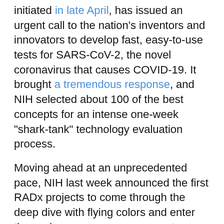initiated in late April, has issued an urgent call to the nation's inventors and innovators to develop fast, easy-to-use tests for SARS-CoV-2, the novel coronavirus that causes COVID-19. It brought a tremendous response, and NIH selected about 100 of the best concepts for an intense one-week "shark-tank" technology evaluation process.
Moving ahead at an unprecedented pace, NIH last week announced the first RADx projects to come through the deep dive with flying colors and enter the scale-up process necessary to provide additional rapid testing capacity to the U.S. public. As part of the RADx initiative, seven biomedical technology companies will receive a total of $248.7 million in federal stimulus funding to accelerate their efforts to scale up new lab-based and point-of-care technologies.
Four of these projects will aim to bolster the nation's lab-based COVID-19 diagnostics capacity by tens of thousands of tests per day as soon as September and by millions by the end of the year. The other three will expand point-of-care testing for COVID-19, making